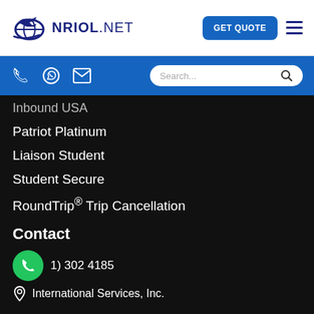[Figure (logo): NRIOL.NET logo with airplane and globe icon in blue]
GET QUOTE
Inbound USA
Patriot Platinum
Liaison Student
Student Secure
RoundTrip® Trip Cancellation
Contact
302 4185
International Services, Inc.